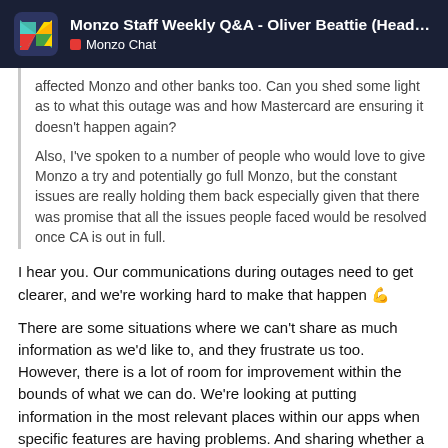Monzo Staff Weekly Q&A - Oliver Beattie (Head o... | Monzo Chat
affected Monzo and other banks too. Can you shed some light as to what this outage was and how Mastercard are ensuring it doesn't happen again?
Also, I've spoken to a number of people who would love to give Monzo a try and potentially go full Monzo, but the constant issues are really holding them back especially given that there was promise that all the issues people faced would be resolved once CA is out in full.
I hear you. Our communications during outages need to get clearer, and we're working hard to make that happen 💪
There are some situations where we can't share as much information as we'd like to, and they frustrate us too. However, there is a lot of room for improvement within the bounds of what we can do. We're looking at putting information in the most relevant places within our apps when specific features are having problems. And sharing whether a problem is likely to just affect Monzo or whether other banks might be impacted as well.